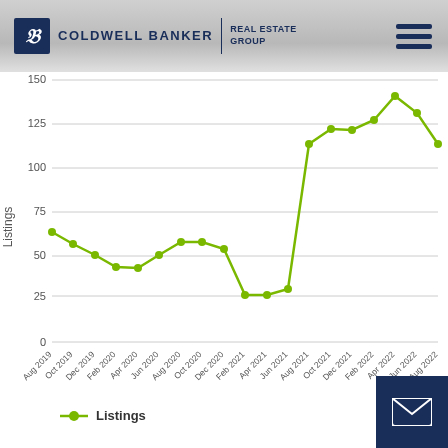Coldwell Banker Real Estate Group
[Figure (line-chart): Listings]
Listings